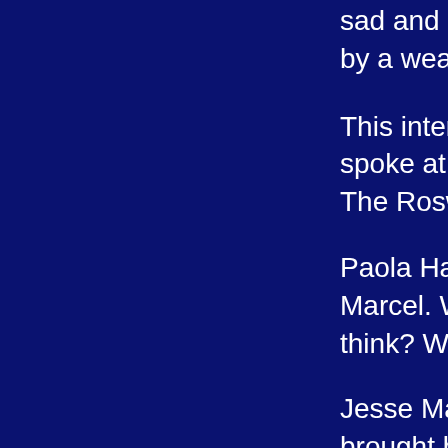sad and disillusioned. He appears in the fa... by a weather balloon.
This interview is with his son Jesse Marcel... spoke at a conference in Rome April 1sst ... The Roswell Legacy. This Interview was d...
Paola Harris: We Just did a conference he... Marcel. When you saw the preparation of t... think? Were you surprised that in another c...
Jesse Marcel Jr. Well, it was very importan... brought back a lot of memories of the early... to see my dad honored in this way.
Paola Harris: When this happened, your fa... about it. Do you feel if he were alive he wo... incident now? At the end of his life he did c...
Jesse Marcel Jr.; He would be very gratifie... world.
Paola Harris: This is not just a United State... your father think if he were alive today?
Jesse Marcel Jr.: He would be very surpris...